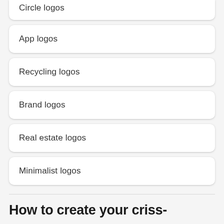Circle logos
App logos
Recycling logos
Brand logos
Real estate logos
Minimalist logos
How to create your criss-